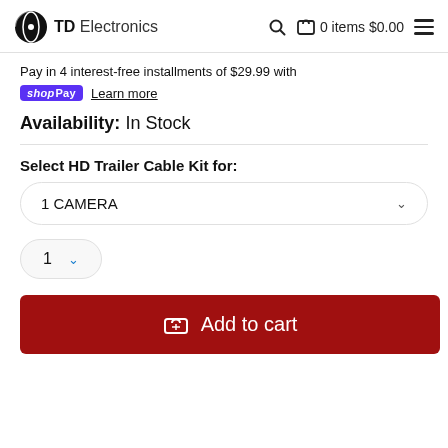TD Electronics  🔍 🛍 0 items $0.00 ☰
Pay in 4 interest-free installments of $29.99 with shop Pay  Learn more
Availability: In Stock
Select HD Trailer Cable Kit for:
1 CAMERA
1
Add to cart